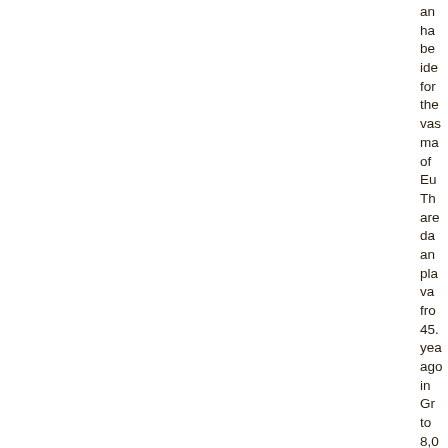and have been identified for the vast majority of Europe. There are data and plant values from 45 years ago in Greece to 8,000 B.C. in Syria using methods that rely on and he